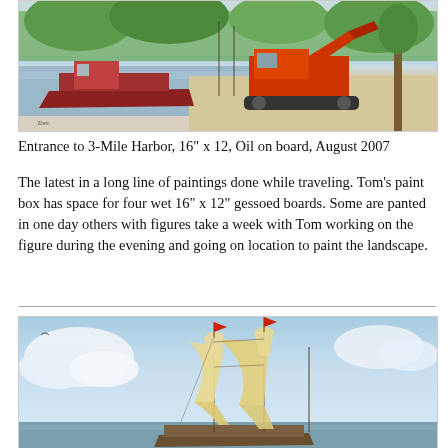[Figure (illustration): Painting of entrance to 3-Mile Harbor showing a red boat docked near a pier and a red bulldozer/excavator on land, with green trees and marshy background, painted in oil on board style.]
Entrance to 3-Mile Harbor, 16" x 12, Oil on board, August 2007
The latest in a long line of paintings done while traveling. Tom's paint box has space for four wet 16" x 12" gessoed boards. Some are panted in one day others with figures take a week with Tom working on the figure during the evening and going on location to paint the landscape.
[Figure (illustration): Painting of a tall sailing ship with large cream/golden sails billowing in the wind, sailing on open water with clouds in the background. A maritime scene painted in watercolor or oil style.]